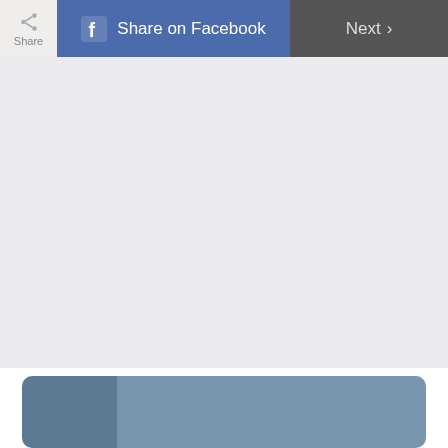[Figure (screenshot): UI toolbar with Share button on left, Share on Facebook button (blue with Facebook icon) in center, and Next button with chevron on right (dark gray)]
[Figure (screenshot): Large light gray empty content area below the toolbar]
[Figure (screenshot): Partial rounded card element with steel blue/slate color, split into a darker left panel and lighter right panel, visible at the bottom of the page]